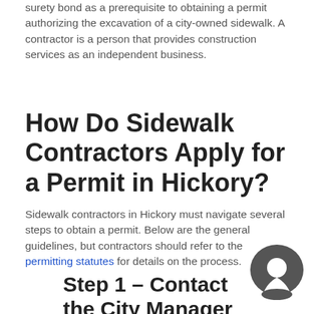surety bond as a prerequisite to obtaining a permit authorizing the excavation of a city-owned sidewalk. A contractor is a person that provides construction services as an independent business.
How Do Sidewalk Contractors Apply for a Permit in Hickory?
Sidewalk contractors in Hickory must navigate several steps to obtain a permit. Below are the general guidelines, but contractors should refer to the permitting statutes for details on the process.
Step 1 – Contact the City Manager